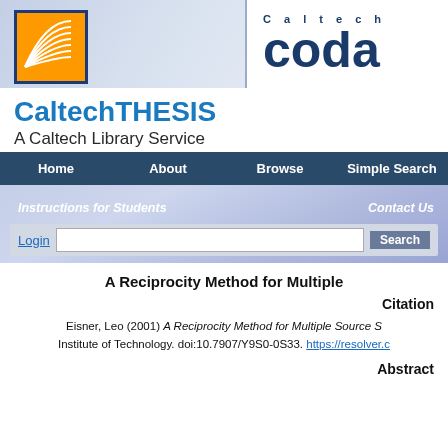[Figure (logo): Caltech CODA header banner with orange Caltech logo on left and 'Caltech coda' text on right]
CaltechTHESIS
A Caltech Library Service
[Figure (screenshot): Navigation bar with Home, About, Browse, Simple Search items on dark blue background]
[Figure (screenshot): Sub-banner with Instructions for Students, Contact Us links and Login/Search bar]
A Reciprocity Method for Multiple
Citation
Eisner, Leo (2001) A Reciprocity Method for Multiple Source S... Institute of Technology. doi:10.7907/Y9S0-0S33. https://resolver.c...
Abstract